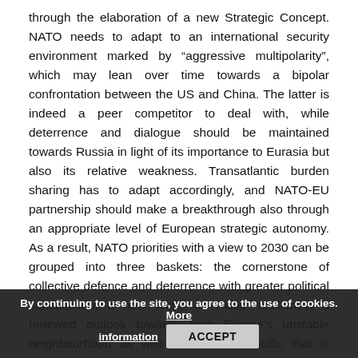through the elaboration of a new Strategic Concept. NATO needs to adapt to an international security environment marked by "aggressive multipolarity", which may lean over time towards a bipolar confrontation between the US and China. The latter is indeed a peer competitor to deal with, while deterrence and dialogue should be maintained towards Russia in light of its importance to Eurasia but also its relative weakness. Transatlantic burden sharing has to adapt accordingly, and NATO-EU partnership should make a breakthrough also through an appropriate level of European strategic autonomy. As a result, NATO priorities with a view to 2030 can be grouped into three baskets: the cornerstone of collective defence and deterrence with greater political consultation; a new focus on Allies' resilience; a renewed outlook towards both Europe's unstable neighbourhood as well as the Asia-Pacific that is increasingly the focus of US strategic commitments. NATO remains the most powerful alliance in the world and a fundamental pillar of stability
By continuing to use the site, you agree to the use of cookies. More information ACCEPT